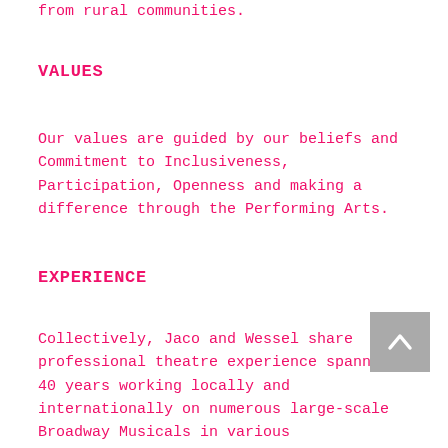from rural communities.
VALUES
Our values are guided by our beliefs and Commitment to Inclusiveness, Participation, Openness and making a difference through the Performing Arts.
EXPERIENCE
Collectively, Jaco and Wessel share professional theatre experience spanning 40 years working locally and internationally on numerous large-scale Broadway Musicals in various